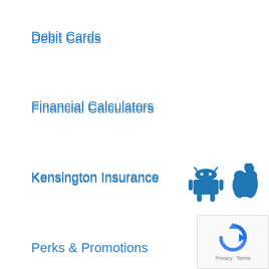Debit Cards
Financial Calculators
Kensington Insurance
Perks & Promotions
Your Security
[Figure (logo): Android and Apple app store icons in blue]
[Figure (logo): reCAPTCHA logo with Privacy and Terms text]